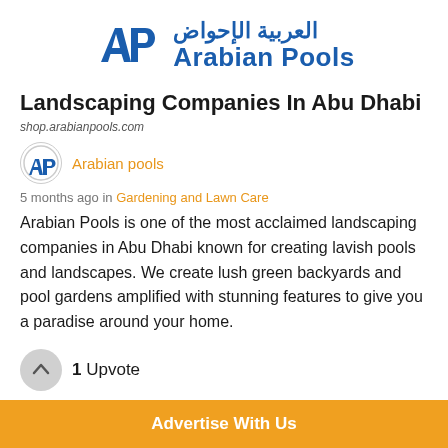[Figure (logo): Arabian Pools logo with AP emblem and Arabic/English text]
Landscaping Companies In Abu Dhabi
shop.arabianpools.com
Arabian pools
5 months ago in Gardening and Lawn Care
Arabian Pools is one of the most acclaimed landscaping companies in Abu Dhabi known for creating lavish pools and landscapes. We create lush green backyards and pool gardens amplified with stunning features to give you a paradise around your home.
1 Upvote
Advertise With Us